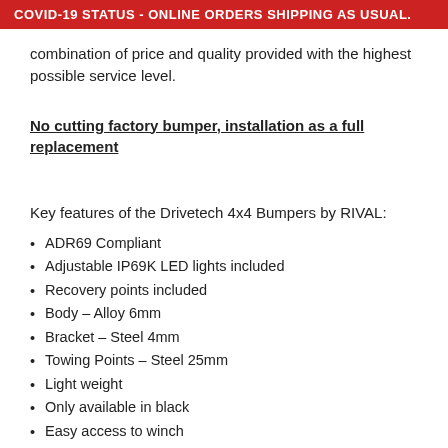COVID-19 STATUS - ONLINE ORDERS SHIPPING AS USUAL.
combination of price and quality provided with the highest possible service level.
No cutting factory bumper, installation as a full replacement
Key features of the Drivetech 4x4 Bumpers by RIVAL:
ADR69 Compliant
Adjustable IP69K LED lights included
Recovery points included
Body – Alloy 6mm
Bracket – Steel 4mm
Towing Points – Steel 25mm
Light weight
Only available in black
Easy access to winch
Removable tow hooks